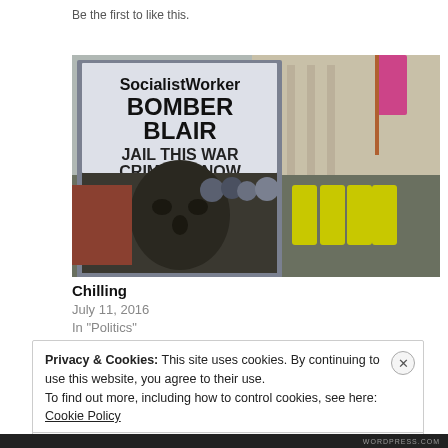Be the first to like this.
[Figure (photo): Protest photo showing a Socialist Worker sign reading 'BOMBER BLAIR JAIL THIS WAR CRIMINAL NOW' with an image of a face below the text, surrounded by protesters and police in yellow vests outside a grand building, with a pink flag visible in the background.]
Chilling
July 11, 2016
In "Politics"
Privacy & Cookies: This site uses cookies. By continuing to use this website, you agree to their use.
To find out more, including how to control cookies, see here: Cookie Policy
Close and accept